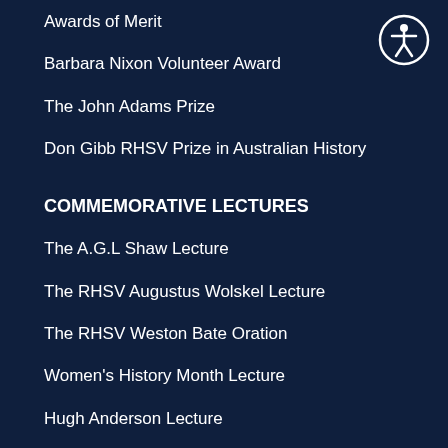Awards of Merit
Barbara Nixon Volunteer Award
The John Adams Prize
Don Gibb RHSV Prize in Australian History
COMMEMORATIVE LECTURES
The A.G.L Shaw Lecture
The RHSV Augustus Wolskel Lecture
The RHSV Weston Bate Oration
Women's History Month Lecture
Hugh Anderson Lecture